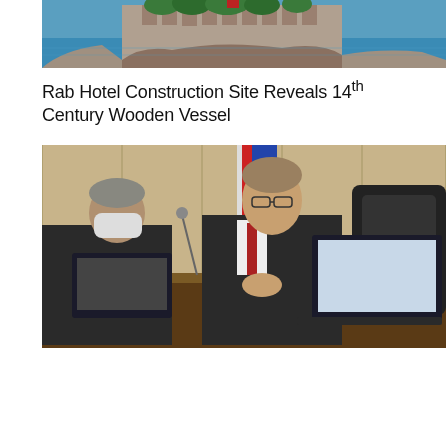[Figure (photo): Aerial or elevated view of a stone fortress/castle on a coastal cliff with blue sea water and green trees in the background]
Rab Hotel Construction Site Reveals 14th Century Wooden Vessel
[Figure (photo): Two men seated at a wooden desk in what appears to be a formal meeting or parliament session. The man in the foreground wears a dark suit and glasses and has his hands on the desk with a laptop open. Another man in the background wears a mask. A red and blue flag is visible behind them.]